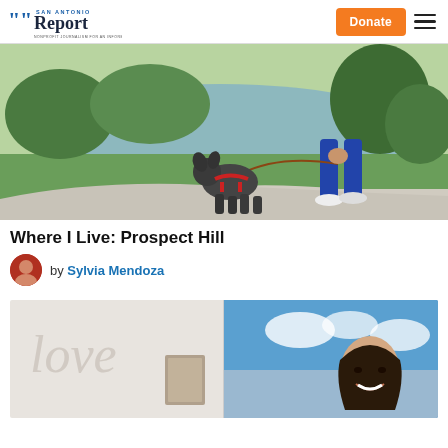San Antonio Report — Donate | Menu
[Figure (photo): Person walking a gray dog on a leash along a paved path near a lake with trees in background]
Where I Live: Prospect Hill
by Sylvia Mendoza
[Figure (photo): Split image: left side shows cursive 'love' text on wall, right side shows a woman smiling with a blue sky mural background]